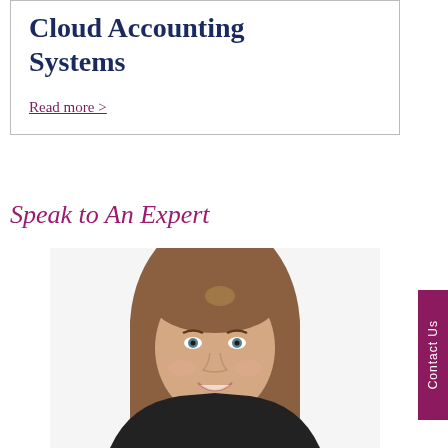Cloud Accounting Systems
Read more >
Speak to An Expert
[Figure (photo): Professional headshot of a smiling woman with long straight brown hair, wearing a dark top, against a white background.]
Contact Us